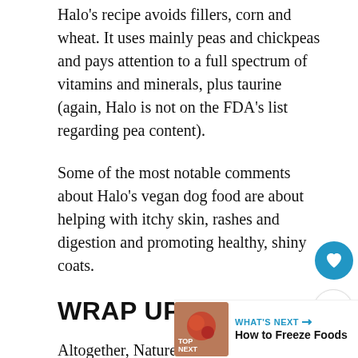Halo's recipe avoids fillers, corn and wheat. It uses mainly peas and chickpeas and pays attention to a full spectrum of vitamins and minerals, plus taurine (again, Halo is not on the FDA's list regarding pea content).
Some of the most notable comments about Halo's vegan dog food are about helping with itchy skin, rashes and digestion and promoting healthy, shiny coats.
WRAP UP
Altogether, Nature's Recipe vegan dog